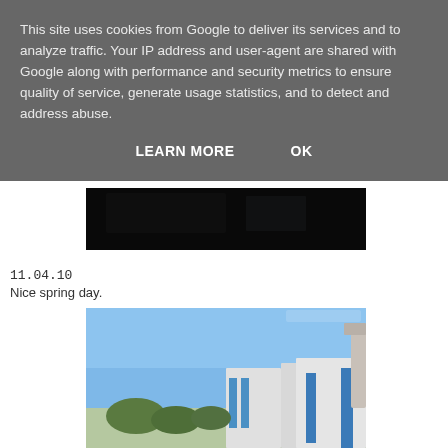This site uses cookies from Google to deliver its services and to analyze traffic. Your IP address and user-agent are shared with Google along with performance and security metrics to ensure quality of service, generate usage statistics, and to detect and address abuse.
LEARN MORE   OK
[Figure (photo): Dark interior photo partially visible, appears to show a room or workspace at night]
11.04.10
Nice spring day.
[Figure (photo): Outdoor photo of buildings with blue accents under a clear blue sky, with trees in the foreground]